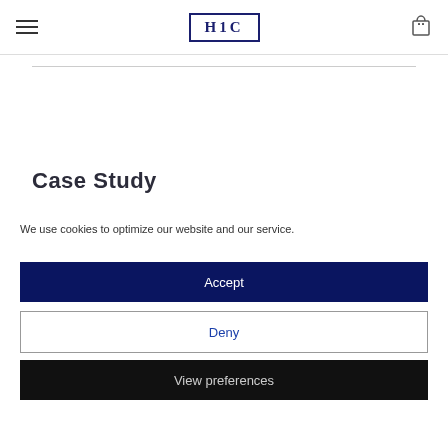H1C
Case Study
We use cookies to optimize our website and our service.
Accept
Deny
View preferences